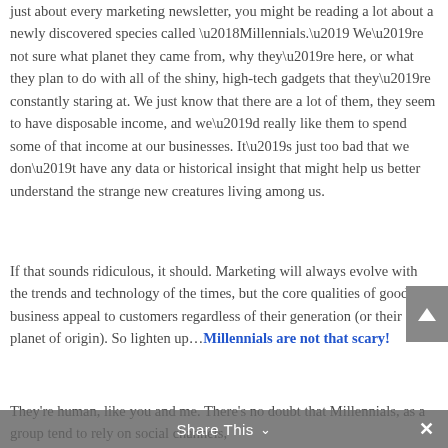just about every marketing newsletter, you might be reading a lot about a newly discovered species called ‘Millennials.’ We’re not sure what planet they came from, why they’re here, or what they plan to do with all of the shiny, high-tech gadgets that they’re constantly staring at. We just know that there are a lot of them, they seem to have disposable income, and we’d really like them to spend some of that income at our businesses. It’s just too bad that we don’t have any data or historical insight that might help us better understand the strange new creatures living among us.
If that sounds ridiculous, it should. Marketing will always evolve with the trends and technology of the times, but the core qualities of good business appeal to customers regardless of their generation (or their planet of origin). So lighten up…Millennials are not that scary!
They’re human, like you and me. There’s no doubt that Millennials, as a group tend to rely on social channels,
Share This